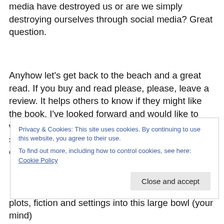media have destroyed us or are we simply destroying ourselves through social media? Great question.
Anyhow let's get back to the beach and a great read. If you buy and read please, please, leave a review. It helps others to know if they might like the book. I've looked forward and would like to write more books and maybe submit another screenplay. The starving artist is not a role in life I ever expected to take. That's not me. I always
Privacy & Cookies: This site uses cookies. By continuing to use this website, you agree to their use.
To find out more, including how to control cookies, see here: Cookie Policy
plots, fiction and settings into this large bowl (your mind)